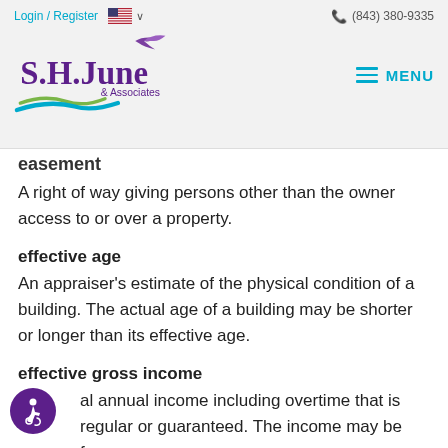Login / Register  (843) 380-9335  S.H. June & Associates  MENU
easement
A right of way giving persons other than the owner access to or over a property.
effective age
An appraiser's estimate of the physical condition of a building. The actual age of a building may be shorter or longer than its effective age.
effective gross income
al annual income including overtime that is regular or guaranteed. The income may be from more